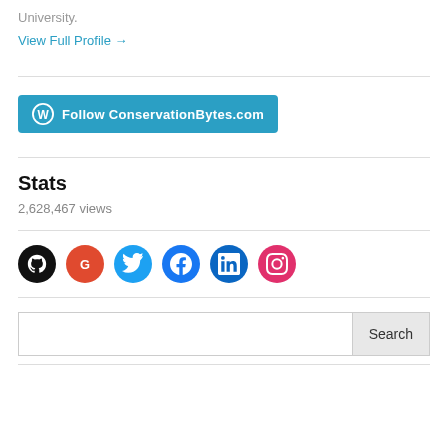University.
View Full Profile →
[Figure (other): Follow ConservationBytes.com WordPress follow button]
Stats
2,628,467 views
[Figure (other): Social media icons: GitHub, Google, Twitter, Facebook, LinkedIn, Instagram]
[Figure (other): Search input field with Search button]